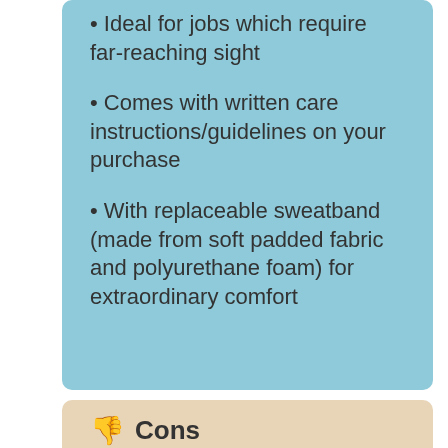Ideal for jobs which require far-reaching sight
Comes with written care instructions/guidelines on your purchase
With replaceable sweatband (made from soft padded fabric and polyurethane foam) for extraordinary comfort
Cons
As advertised by some dealers, the 4-point suspension can be